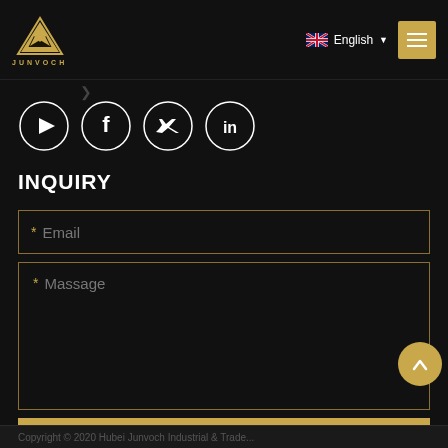[Figure (logo): JUNVOCH gold triangle/diamond logo with text JUNVOCH below]
English ▼
[Figure (infographic): Hamburger menu button (gold background with three white lines)]
[Figure (infographic): Social media icons row: YouTube, Facebook, Twitter, LinkedIn — white outline circles on black background]
INQUIRY
* Email
* Massage
Send Message
Copyright © 2020 Hubei Junvoch Industrial & Trade...